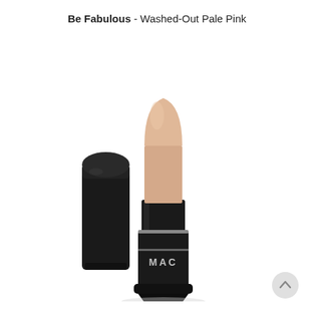Be Fabulous - Washed-Out Pale Pink
[Figure (photo): MAC lipstick in shade 'Be Fabulous' (Washed-Out Pale Pink). The lipstick is extended from its black tube showing a pale nude/pink bullet tip. A separate black cap is placed to the left of the tube. The MAC logo is visible on the black base of the lipstick tube.]